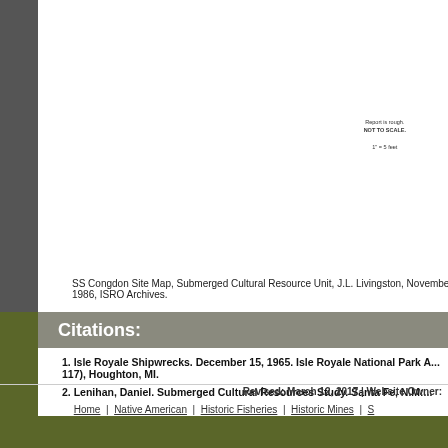[Figure (other): SS Congdon site map showing submerged wreck layout, with notation 'Report is rough. NOT TO SCALE.' and scale indicator]
SS Congdon Site Map, Submerged Cultural Resource Unit, J.L. Livingston, November 1986, ISRO Archives.
Citations:
1. Isle Royale Shipwrecks. December 15, 1965. Isle Royale National Park A... 117), Houghton, MI.
2. Lenihan, Daniel. Submerged Cultural Resources Study. Santa Fe, N.M:...
Revised: March 12, 2017 | Website Owner:
Home | Native American | Historic Fisheries | Historic Mines | S